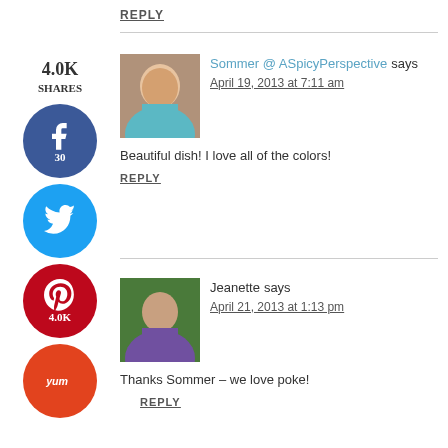REPLY
[Figure (infographic): Social share buttons sidebar: 4.0K SHARES counter, Facebook button (30), Twitter bird button, Pinterest button (4.0K), Yum button]
Sommer @ ASpicyPerspective says April 19, 2013 at 7:11 am Beautiful dish! I love all of the colors!
REPLY
Jeanette says April 21, 2013 at 1:13 pm Thanks Sommer – we love poke!
REPLY